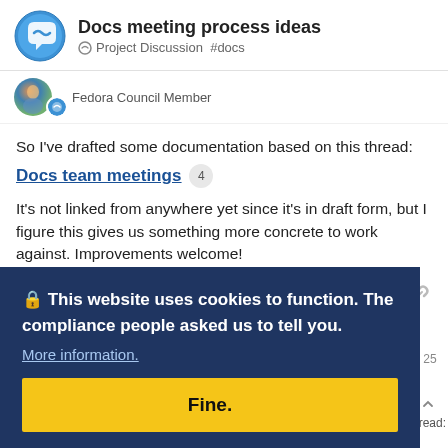Docs meeting process ideas | Project Discussion #docs
Fedora Council Member
So I've drafted some documentation based on this thread:
Docs team meetings  4
It's not linked from anywhere yet since it's in draft form, but I figure this gives us something more concrete to work against. Improvements welcome!
🔒 This website uses cookies to function. The compliance people asked us to tell you.
More information.
Fine.